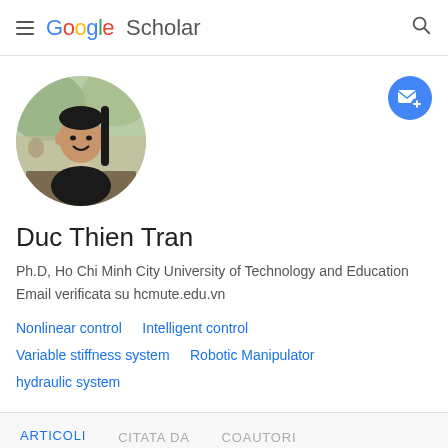Google Scholar
[Figure (photo): Circular profile photo of Duc Thien Tran, a man smiling in a dark shirt, sitting at a table with a coffee cup, outdoor/cafe background]
[Figure (illustration): Blue circular follow/email button with envelope and plus icon]
Duc Thien Tran
Ph.D, Ho Chi Minh City University of Technology and Education
Email verificata su hcmute.edu.vn
Nonlinear control
Intelligent control
Variable stiffness system
Robotic Manipulator
hydraulic system
ARTICOLI   CITATA DA   COAUTORI
ORDINA ▾   CITATA DA